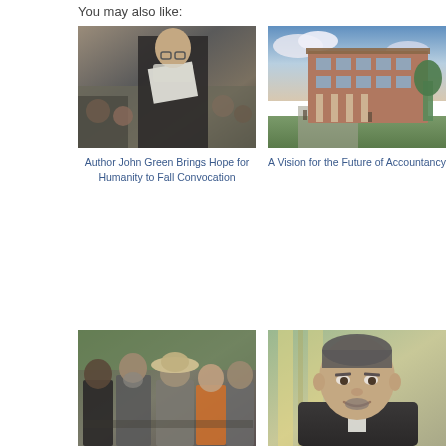You may also like:
[Figure (photo): A person in academic regalia (graduation gown) holding papers at a convocation ceremony, crowd in background]
Author John Green Brings Hope for Humanity to Fall Convocation
[Figure (photo): Architectural rendering of a modern brick university building with columns and landscaping]
A Vision for the Future of Accountancy
[Figure (photo): People seated at an outdoor event, including a man wearing a wide-brimmed hat and a woman in orange]
[Figure (photo): Headshot portrait of a middle-aged man in a suit, smiling, with blurred window background]